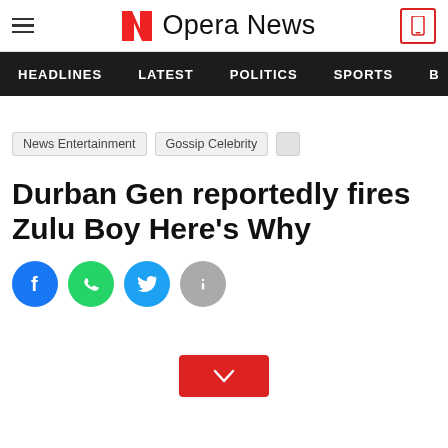Opera News
HEADLINES  LATEST  POLITICS  SPORTS
News Entertainment  Gossip Celebrity
Durban Gen reportedly fires Zulu Boy Here's Why
[Figure (other): Social share buttons: Facebook, WhatsApp, Twitter, Info]